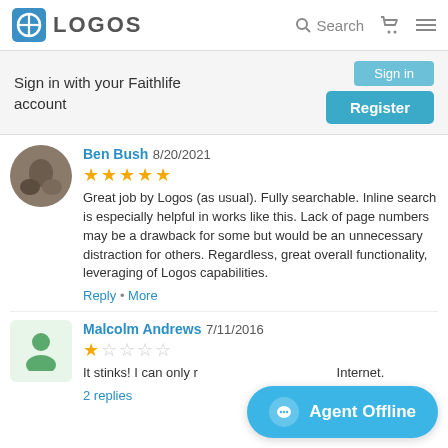LOGOS | Search
Sign in with your Faithlife account
Sign in | Register
Ben Bush 8/20/2021 ★★★★★ Great job by Logos (as usual). Fully searchable. Inline search is especially helpful in works like this. Lack of page numbers may be a drawback for some but would be an unnecessary distraction for others. Regardless, great overall functionality, leveraging of Logos capabilities.
Reply • More
Malcolm Andrews 7/11/2016 ★☆☆☆☆ It stinks! I can only ... Internet.
2 replies
Agent Offline